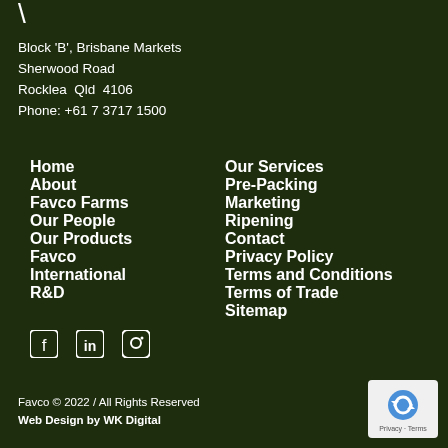\
Block 'B', Brisbane Markets
Sherwood Road
Rocklea  Qld  4106
Phone: +61 7 3717 1500
Home
About
Favco Farms
Our People
Our Products
Favco International
R&D
Our Services
Pre-Packing
Marketing
Ripening
Contact
Privacy Policy
Terms and Conditions
Terms of Trade
Sitemap
[Figure (illustration): Social media icons: Facebook, LinkedIn, Instagram]
Favco © 2022 / All Rights Reserved
Web Design by WK Digital
[Figure (logo): reCAPTCHA badge with Privacy and Terms links]